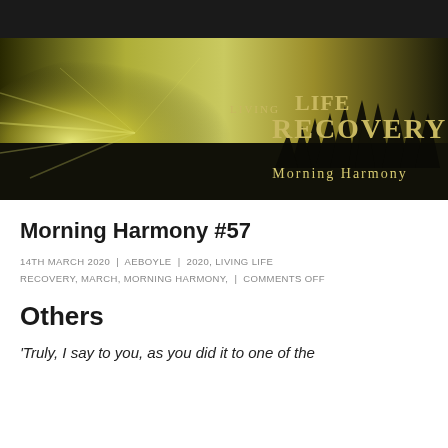[Figure (illustration): Living Life Recovery Morning Harmony banner with golden light rays, dark silhouette of grass/reeds, text 'LIVING LIFE RECOVERY' and 'Morning Harmony']
Morning Harmony #57
14TH MARCH 2020 | AEBOYLE | 2020, LIVING LIFE RECOVERY, MARCH, MORNING HARMONY, | COMMENTS OFF
Others
'Truly, I say to you, as you did it to one of the